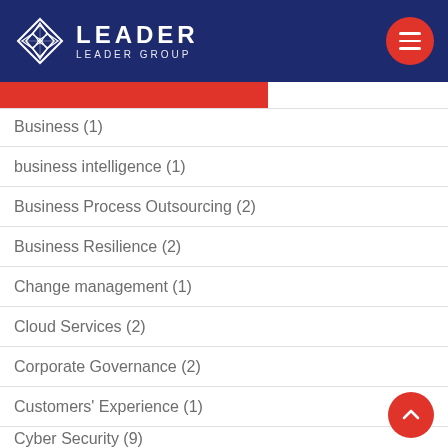LEADER — LEADER GROUP
Business (1)
business intelligence (1)
Business Process Outsourcing (2)
Business Resilience (2)
Change management (1)
Cloud Services (2)
Corporate Governance (2)
Customers' Experience (1)
Cyber Security (9)